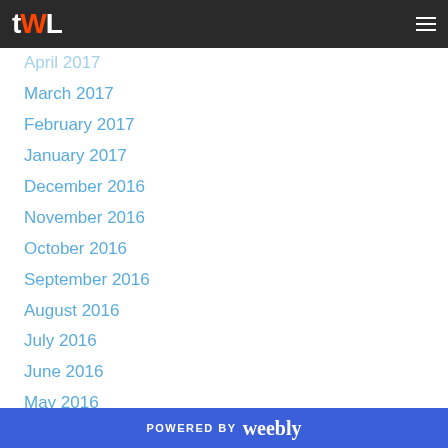TWL
April 2017
March 2017
February 2017
January 2017
December 2016
November 2016
October 2016
September 2016
August 2016
July 2016
June 2016
May 2016
April 2016
March 2016
February 2016
January 2016
POWERED BY weebly